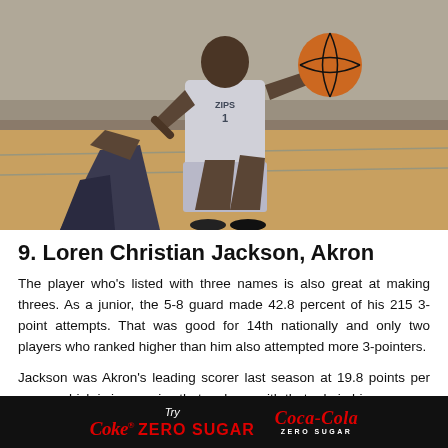[Figure (photo): Two basketball players on an indoor court. The player in the foreground wears a gray 'ZIPS' jersey with number 1 and is dribbling a basketball. Another player in dark jersey defends from behind.]
9. Loren Christian Jackson, Akron
The player who's listed with three names is also great at making threes. As a junior, the 5-8 guard made 42.8 percent of his 215 3-point attempts. That was good for 14th nationally and only two players who ranked higher than him also attempted more 3-pointers.
Jackson was Akron's leading scorer last season at 19.8 points per game, which is impressive that a player with that role in his
[Figure (advertisement): Coca-Cola Zero Sugar advertisement banner on black background. Text reads 'Try Coke. ZERO SUGAR' on the left and the Coca-Cola script logo with 'ZERO SUGAR' text on the right, all in red on black.]